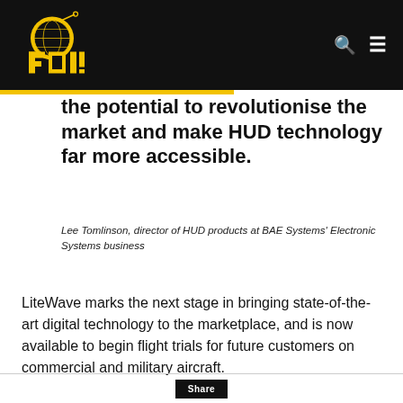[Figure (logo): FOI logo in yellow on black background header with search and menu icons]
the potential to revolutionise the market and make HUD technology far more accessible.
Lee Tomlinson, director of HUD products at BAE Systems' Electronic Systems business
LiteWave marks the next stage in bringing state-of-the-art digital technology to the marketplace, and is now available to begin flight trials for future customers on commercial and military aircraft.
Share